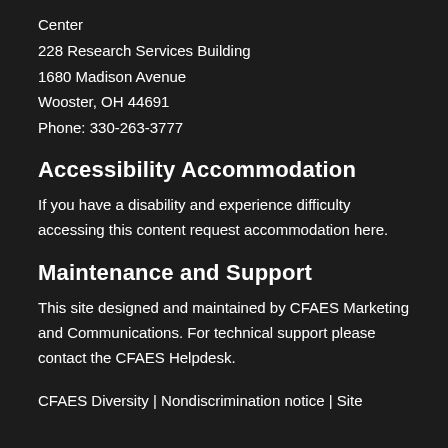Center
228 Research Services Building
1680 Madison Avenue
Wooster, OH 44691
Phone: 330-263-3777
Accessibility Accommodation
If you have a disability and experience difficulty accessing this content request accommodation here.
Maintenance and Support
This site designed and maintained by CFAES Marketing and Communications. For technical support please contact the CFAES Helpdesk.
CFAES Diversity | Nondiscrimination notice | Site